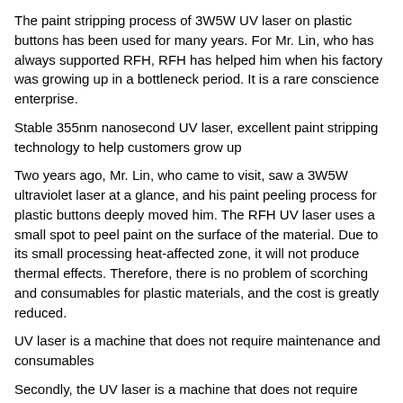The paint stripping process of 3W5W UV laser on plastic buttons has been used for many years. For Mr. Lin, who has always supported RFH, RFH has helped him when his factory was growing up in a bottleneck period. It is a rare conscience enterprise.
Stable 355nm nanosecond UV laser, excellent paint stripping technology to help customers grow up
Two years ago, Mr. Lin, who came to visit, saw a 3W5W ultraviolet laser at a glance, and his paint peeling process for plastic buttons deeply moved him. The RFH UV laser uses a small spot to peel paint on the surface of the material. Due to its small processing heat-affected zone, it will not produce thermal effects. Therefore, there is no problem of scorching and consumables for plastic materials, and the cost is greatly reduced.
UV laser is a machine that does not require maintenance and consumables
Secondly, the UV laser is a machine that does not require maintenance and consumables. It only needs to be plugged in to be able to work continuously for 24 hours, which is stable and efficient. At the same time, the RFH ultraviolet laser is very environmentally impacted and the operating cost is also very low. The full computer control reduces the difficulty of its use. It is a completely green and safe laser technology.
RFH 3W5W UV laser
Mr. Lin used all the funds to purchase a 3W5W ultraviolet laser two years ago, which also allowed his factory to successfully follow the development th